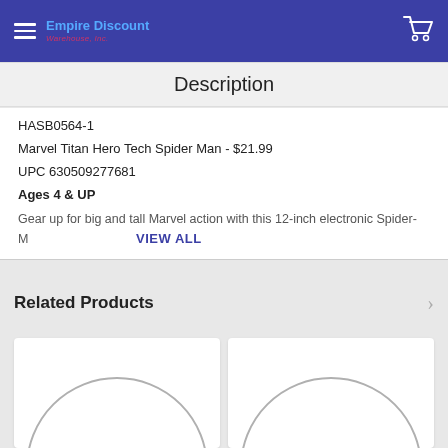Empire Discount
Description
HASB0564-1
Marvel Titan Hero Tech Spider Man - $21.99
UPC 630509277681
Ages 4 & UP
Gear up for big and tall Marvel action with this 12-inch electronic Spider- M
VIEW ALL
Related Products
[Figure (other): Related product placeholder image (circle arc on white background)]
[Figure (other): Related product placeholder image (circle arc on white background)]